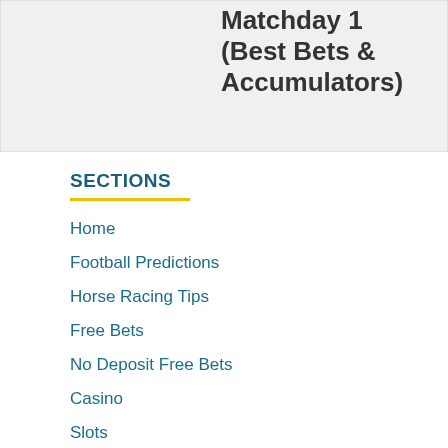Matchday 1 (Best Bets & Accumulators)
SECTIONS
Home
Football Predictions
Horse Racing Tips
Free Bets
No Deposit Free Bets
Casino
Slots
Poker
Games
Bingo